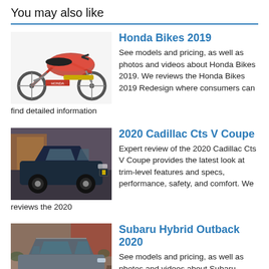You may also like
[Figure (photo): Red Honda motorcycle (sport bike) on white background]
Honda Bikes 2019
See models and pricing, as well as photos and videos about Honda Bikes 2019. We reviews the Honda Bikes 2019 Redesign where consumers can find detailed information
[Figure (photo): Dark blue Cadillac CTS-V Coupe on a city street]
2020 Cadillac Cts V Coupe
Expert review of the 2020 Cadillac Cts V Coupe provides the latest look at trim-level features and specs, performance, safety, and comfort. We reviews the 2020
[Figure (photo): Grey Subaru Outback on rocky terrain]
Subaru Hybrid Outback 2020
See models and pricing, as well as photos and videos about Subaru